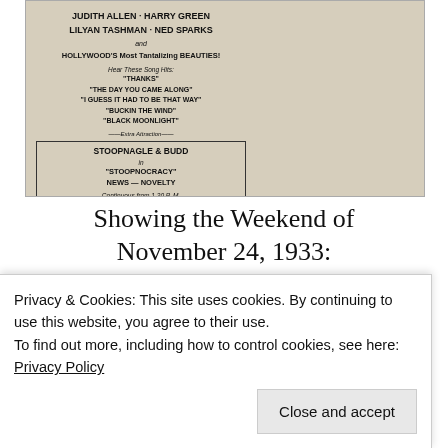[Figure (photo): Vintage movie advertisement showing performer silhouette on right, cast names on left including Judith Allen, Harry Green, Lilyan Tashman, Ned Sparks, Hollywood's Most Tantalizing Beauties, song hits listed, Stoopnagle & Budd extra attraction box, and text '6 New Song Hits, Red-Hot Romance, Hot-Cha Honies', Side Splitting Laff-!]
Showing the Weekend of November 24, 1933:
[Figure (photo): Partial vintage movie advertisement visible at bottom, with text Her Daughter's Charms]
Privacy & Cookies: This site uses cookies. By continuing to use this website, you agree to their use.
To find out more, including how to control cookies, see here: Privacy Policy
Close and accept